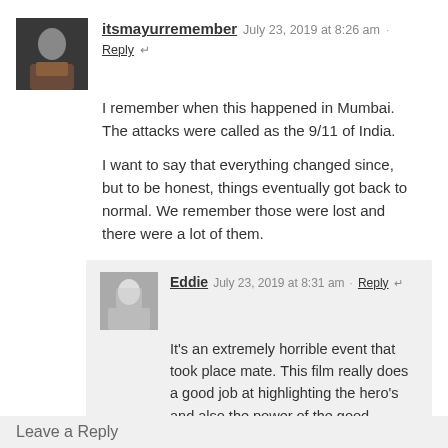itsmayurremember  July 23, 2019 at 8:26 am  Reply
I remember when this happened in Mumbai. The attacks were called as the 9/11 of India.

I want to say that everything changed since, but to be honest, things eventually got back to normal. We remember those were lost and there were a lot of them.
Eddie  July 23, 2019 at 8:31 am  Reply
It's an extremely horrible event that took place mate. This film really does a good job at highlighting the hero's and also the power of the good humanity can do also.

E
Leave a Reply